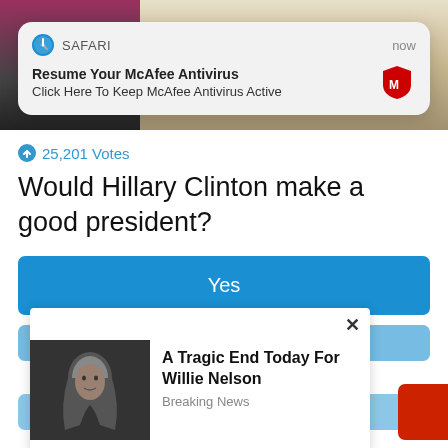[Figure (screenshot): Screenshot of a mobile browser page showing a Safari notification overlay, a poll question about Hillary Clinton, vote buttons, and an ad popup for Willie Nelson breaking news.]
SAFARI  now
Resume Your McAfee Antivirus
Click Here To Keep McAfee Antivirus Active
25,201 Votes
Would Hillary Clinton make a good president?
Yes
×
A Tragic End Today For Willie Nelson
Breaking News